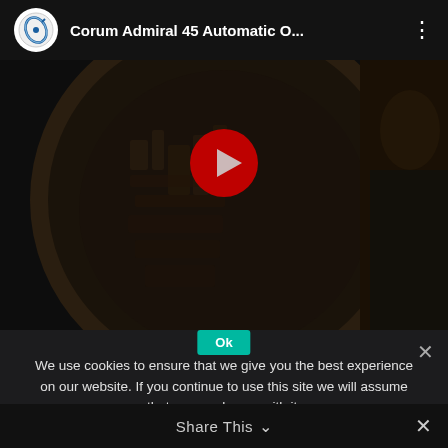[Figure (screenshot): YouTube video embed showing 'Corum Admiral 45 Automatic O...' with a dark close-up image of a watch dial with embossed sailing ship design, a red YouTube play button in the center, channel logo (circular Corum logo) in top-left, video title in top bar, and three-dot menu icon top-right.]
We use cookies to ensure that we give you the best experience on our website. If you continue to use this site we will assume that you are happy with it.
Ok
Share This